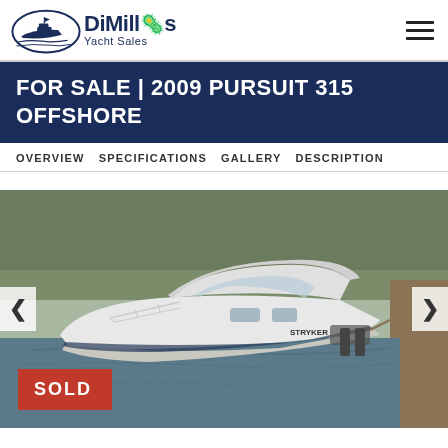DiMillo's Yacht Sales
FOR SALE | 2009 PURSUIT 315 OFFSHORE
OVERVIEW  SPECIFICATIONS  GALLERY  DESCRIPTION
[Figure (photo): A white 2009 Pursuit 315 Offshore boat moored at a dock, with trees in the background, shown from the port side. A red SOLD badge is overlaid in the bottom-left corner. Navigation arrows appear on left and right sides of the image.]